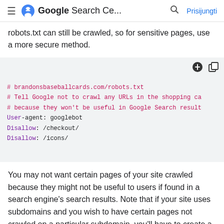Google Search Ce... Prisijungti
robots.txt can still be crawled, so for sensitive pages, use a more secure method.
[Figure (screenshot): Code block showing a robots.txt example for brandonsbaseballcards.com with comments and Disallow directives for /checkout/ and /icons/]
You may not want certain pages of your site crawled because they might not be useful to users if found in a search engine's search results. Note that if your site uses subdomains and you wish to have certain pages not crawled on a particular subdomain, you'll have to create a separate robots.txt file for that subdomain. For more